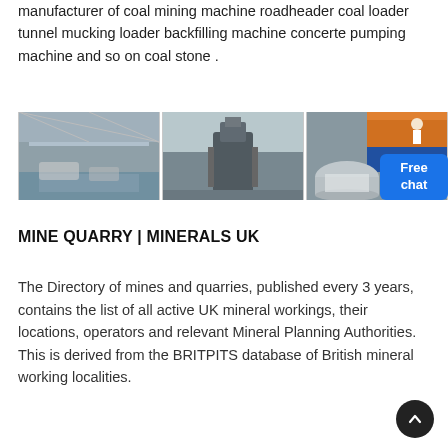manufacturer of coal mining machine roadheader coal loader tunnel mucking loader backfilling machine concerte pumping machine and so on coal stone .
[Figure (photo): Three side-by-side photos of industrial mining/manufacturing facility interiors showing large machinery and equipment.]
MINE QUARRY | MINERALS UK
The Directory of mines and quarries, published every 3 years, contains the list of all active UK mineral workings, their locations, operators and relevant Mineral Planning Authorities. This is derived from the BRITPITS database of British mineral working localities.